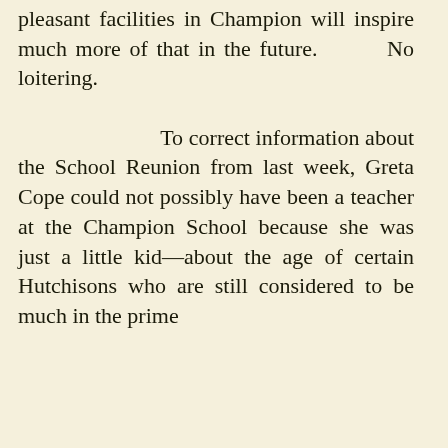pleasant facilities in Champion will inspire much more of that in the future. No loitering.

To correct information about the School Reunion from last week, Greta Cope could not possibly have been a teacher at the Champion School because she was just a little kid—about the age of certain Hutchisons who are still considered to be much in the prime